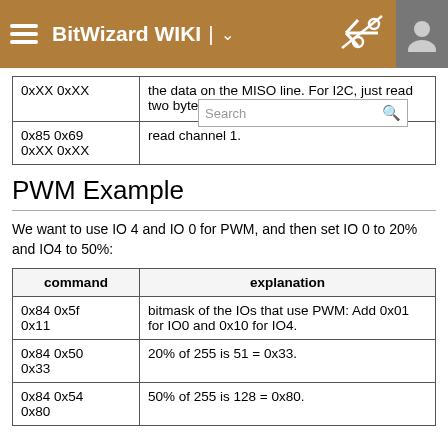BitWizard WIKI
| command | explanation |
| --- | --- |
| 0xXX 0xXX | the data on the MISO line. For I2C, just read two bytes a[fter] |
| 0x85 0x69
0xXX 0xXX | read channel 1. |
PWM Example
We want to use IO 4 and IO 0 for PWM, and then set IO 0 to 20% and IO4 to 50%:
| command | explanation |
| --- | --- |
| 0x84 0x5f
0x11 | bitmask of the IOs that use PWM: Add 0x01 for IO0 and 0x10 for IO4. |
| 0x84 0x50
0x33 | 20% of 255 is 51 = 0x33. |
| 0x84 0x54
0x80 | 50% of 255 is 128 = 0x80. |